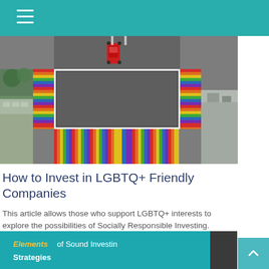[Figure (photo): Aerial view of a rainbow-painted crosswalk intersection with a red car, surrounded by city buildings and streets]
How to Invest in LGBTQ+ Friendly Companies
This article allows those who support LGBTQ+ interests to explore the possibilities of Socially Responsible Investing.
[Figure (photo): Close-up of a teal book cover reading 'Elements of Sound Investing Strategies']